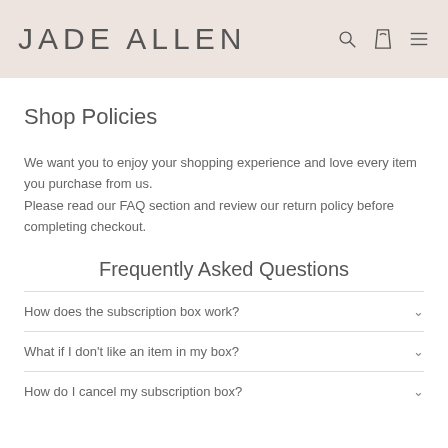JADE ALLEN
Shop Policies
We want you to enjoy your shopping experience and love every item you purchase from us.
Please read our FAQ section and review our return policy before completing checkout.
Frequently Asked Questions
How does the subscription box work?
What if I don't like an item in my box?
How do I cancel my subscription box?